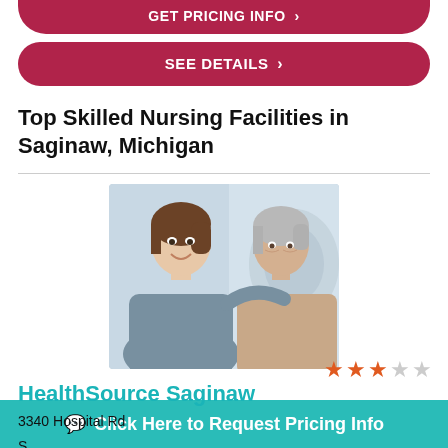GET PRICING INFO >
SEE DETAILS >
Top Skilled Nursing Facilities in Saginaw, Michigan
[Figure (photo): A young female caregiver smiling with her arm around an elderly woman, both looking at the camera.]
HealthSource Saginaw
3340 Hospital Rd
S[aginaw, MI]
Click Here to Request Pricing Info